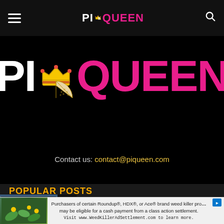PI🍕QUEEN
[Figure (logo): PiQueen logo — large centered version with pie-slice icon and crown, 'PI' in white bold, 'QUEEN' in hot pink bold]
Contact us: contact@piqueen.com
POPULAR POSTS
30 WARNING SIGNS THAT ARE TOO REAL AND CREEPY
Purchasers of certain Roundup®, HDX®, or Ace® brand weed killer products may be eligible for a cash payment from a class action settlement. Visit www.WeedKillerAdSettlement.com to learn more.